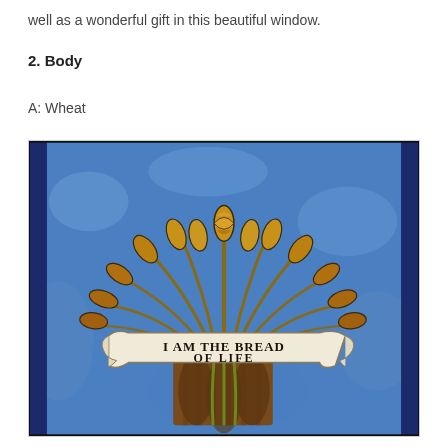well as a wonderful gift in this beautiful window.
2. Body
A: Wheat
[Figure (photo): Stained glass window depicting a sheaf of wheat with a banner reading 'I AM THE BREAD OF LIFE']